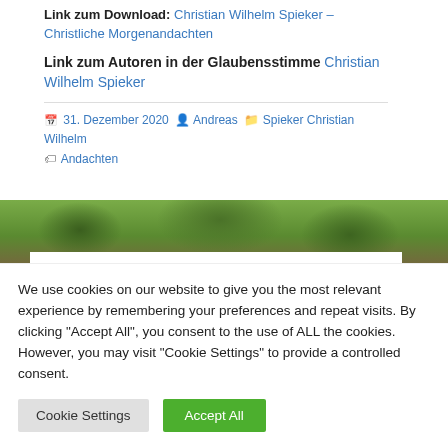Link zum Download: Christian Wilhelm Spieker – Christliche Morgenandachten
Link zum Autoren in der Glaubensstimme Christian Wilhelm Spieker
31. Dezember 2020  Andreas  Spieker Christian Wilhelm  Andachten
[Figure (photo): Nature background strip with green trees and stone structure]
Meta
Anmelden
We use cookies on our website to give you the most relevant experience by remembering your preferences and repeat visits. By clicking "Accept All", you consent to the use of ALL the cookies. However, you may visit "Cookie Settings" to provide a controlled consent.
Cookie Settings  Accept All